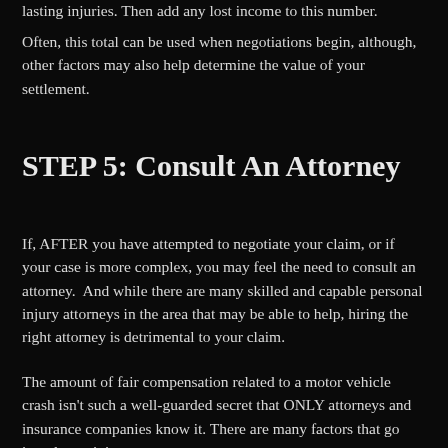lasting injuries. Then add any lost income to this number.
Often, this total can be used when negotiations begin, although, other factors may also help determine the value of your settlement.
STEP 5: Consult An Attorney
If, AFTER you have attempted to negotiate your claim, or if your case is more complex, you may feel the need to consult an attorney.  And while there are many skilled and capable personal injury attorneys in the area that may be able to help, hiring the right attorney is detrimental to your claim.
The amount of fair compensation related to a motor vehicle crash isn't such a well-guarded secret that ONLY attorneys and insurance companies know it. There are many factors that go into determining